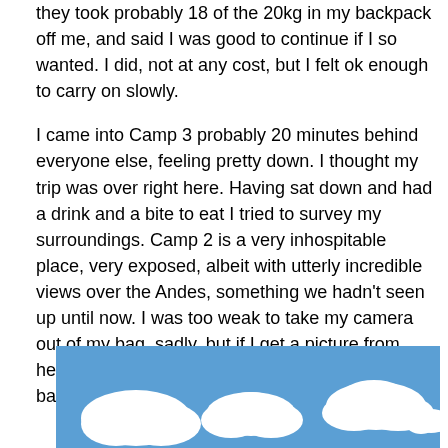they took probably 18 of the 20kg in my backpack off me, and said I was good to continue if I so wanted. I did, not at any cost, but I felt ok enough to carry on slowly.

I came into Camp 3 probably 20 minutes behind everyone else, feeling pretty down. I thought my trip was over right here. Having sat down and had a drink and a bite to eat I tried to survey my surroundings. Camp 2 is a very inhospitable place, very exposed, albeit with utterly incredible views over the Andes, something we hadn't seen up until now. I was too weak to take my camera out of my bag, sadly, but if I get a picture from here from anyone else, or manage to ever get back, I'll post one right here.
[Figure (photo): Blue sky with white clouds photo, cropped at bottom of page]